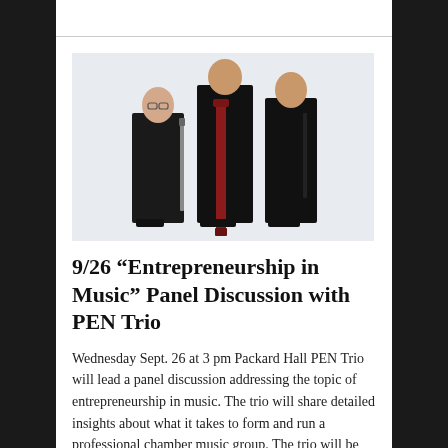[Figure (photo): Three musicians in black formal attire holding woodwind instruments — a smaller woman on the left with a clarinet, a tall man in the center with a large red/maroon bassoon, and a man on the right with a clarinet. They stand against a light blue-grey background.]
9/26 “Entrepreneurship in Music” Panel Discussion with PEN Trio
Wednesday Sept. 26 at 3 pm Packard Hall PEN Trio will lead a panel discussion addressing the topic of entrepreneurship in music. The trio will share detailed insights about what it takes to form and run a professional chamber music group. The trio will be joined by music majors, Aaron Alcouloumre and Grace Hale, who…